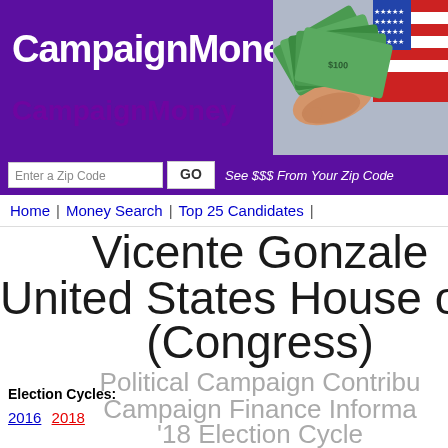[Figure (screenshot): CampaignMoney.com website header banner with logo text and money/flag photo]
[Figure (screenshot): Search bar with zip code input, GO button, and 'See $$$ From Your Zip Code' text on purple background]
Home | Money Search | Top 25 Candidates |
Vicente Gonzale United States House of Rep (Congress)
Political Campaign Contribu
Campaign Finance Informa
'18 Election Cycle
Election Cycles:
2016 2018